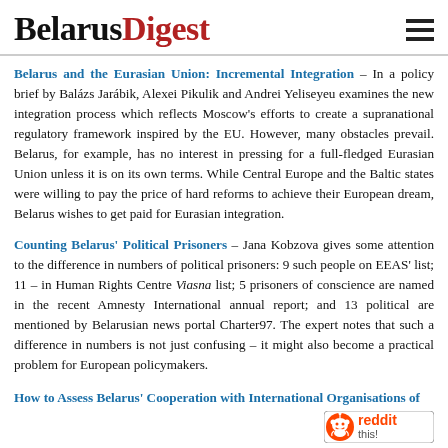BelarusDigest
Belarus and the Eurasian Union: Incremental Integration – In a policy brief by Balázs Jarábik, Alexei Pikulik and Andrei Yeliseyeu examines the new integration process which reflects Moscow's efforts to create a supranational regulatory framework inspired by the EU. However, many obstacles prevail. Belarus, for example, has no interest in pressing for a full-fledged Eurasian Union unless it is on its own terms. While Central Europe and the Baltic states were willing to pay the price of hard reforms to achieve their European dream, Belarus wishes to get paid for Eurasian integration.
Counting Belarus' Political Prisoners – Jana Kobzova gives some attention to the difference in numbers of political prisoners: 9 such people on EEAS' list; 11 – in Human Rights Centre Viasna list; 5 prisoners of conscience are named in the recent Amnesty International annual report; and 13 political are mentioned by Belarusian news portal Charter97. The expert notes that such a difference in numbers is not just confusing – it might also become a practical problem for European policymakers.
How to Assess Belarus' Cooperation with International Organisations of
[Figure (logo): Reddit 'this!' social sharing badge in bottom right corner]